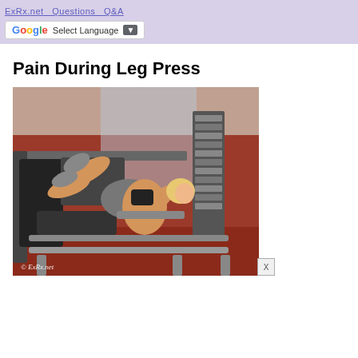ExRx.net  Questions  Q&A
Select Language
Pain During Leg Press
[Figure (photo): Woman using a leg press machine in a gym with red walls and weight equipment visible in the background. Photo watermarked © ExRx.net]